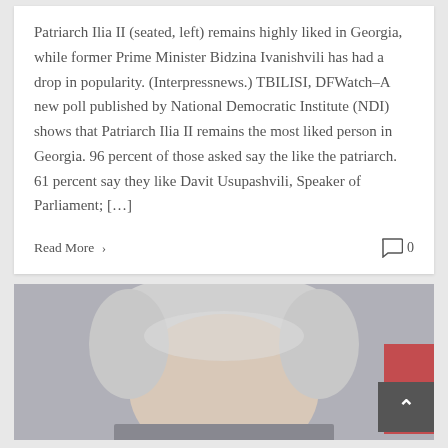Patriarch Ilia II (seated, left) remains highly liked in Georgia, while former Prime Minister Bidzina Ivanishvili has had a drop in popularity. (Interpressnews.) TBILISI, DFWatch–A new poll published by National Democratic Institute (NDI) shows that Patriarch Ilia II remains the most liked person in Georgia. 96 percent of those asked say the like the patriarch. 61 percent say they like Davit Usupashvili, Speaker of Parliament; […]
Read More ›
0
[Figure (photo): Close-up photo of a silver-haired man, cropped at the forehead and chin, with a blurred red background element visible at the right edge.]